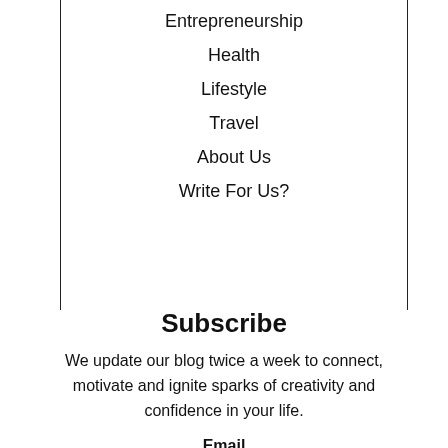Entrepreneurship
Health
Lifestyle
Travel
About Us
Write For Us?
Subscribe
We update our blog twice a week to connect, motivate and ignite sparks of creativity and confidence in your life.
Email
Enter you email address